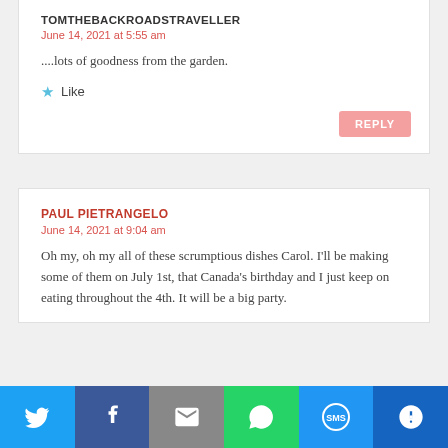TOMTHEBACKROADSTRAVELLER
June 14, 2021 at 5:55 am
....lots of goodness from the garden.
Like
REPLY
PAUL PIETRANGELO
June 14, 2021 at 9:04 am
Oh my, oh my all of these scrumptious dishes Carol. I'll be making some of them on July 1st, that Canada's birthday and I just keep on eating throughout the 4th. It will be a big party.